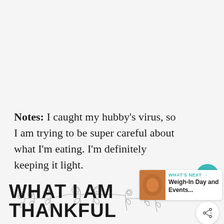Notes: I caught my hubby's virus, so I am trying to be super careful about what I'm eating. I'm definitely keeping it light.
[Figure (illustration): Decorative ornamental divider with scrollwork and teardrop designs]
WHAT I AM THANKFUL